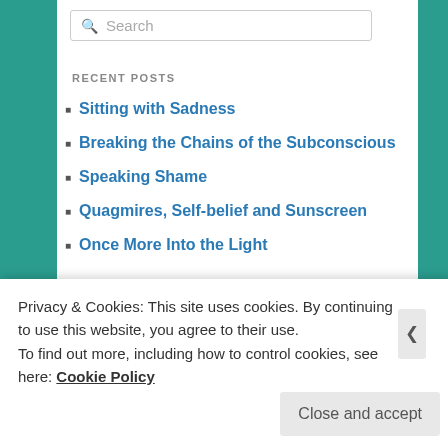[Figure (screenshot): Search input box with placeholder text 'Search' and a magnifying glass icon]
RECENT POSTS
Sitting with Sadness
Breaking the Chains of the Subconscious
Speaking Shame
Quagmires, Self-belief and Sunscreen
Once More Into the Light
ARCHIVES
[Figure (screenshot): Dropdown select box labeled 'Select Month' with a downward arrow]
CATEGORIES
Privacy & Cookies: This site uses cookies. By continuing to use this website, you agree to their use.
To find out more, including how to control cookies, see here: Cookie Policy
Close and accept